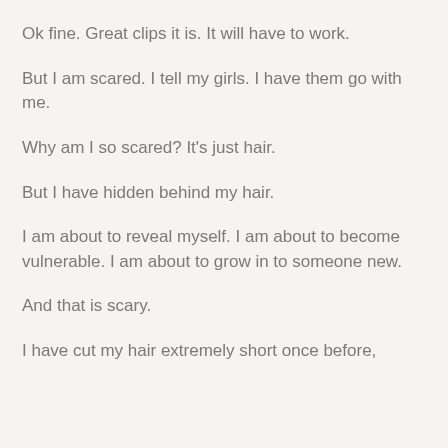Ok fine. Great clips it is. It will have to work.
But I am scared. I tell my girls. I have them go with me.
Why am I so scared? It's just hair.
But I have hidden behind my hair.
I am about to reveal myself. I am about to become vulnerable. I am about to grow in to someone new.
And that is scary.
I have cut my hair extremely short once before,